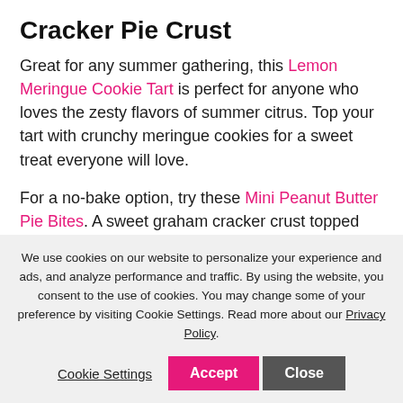Cracker Pie Crust
Great for any summer gathering, this Lemon Meringue Cookie Tart is perfect for anyone who loves the zesty flavors of summer citrus. Top your tart with crunchy meringue cookies for a sweet treat everyone will love.
For a no-bake option, try these Mini Peanut Butter Pie Bites. A sweet graham cracker crust topped with a peanut butter cream and...
We use cookies on our website to personalize your experience and ads, and analyze performance and traffic. By using the website, you consent to the use of cookies. You may change some of your preference by visiting Cookie Settings. Read more about our Privacy Policy.